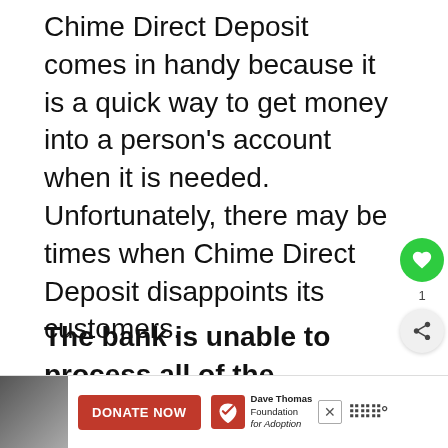Chime Direct Deposit comes in handy because it is a quick way to get money into a person's account when it is needed. Unfortunately, there may be times when Chime Direct Deposit disappoints its customers.
To reduce the amount of stress involved with this situation, one might want to find out why the direct deposit was not on time.
The bank is unable to process all of the electronic payments it receives in time to be...
[Figure (other): Advertisement banner with person photo, red DONATE NOW button, Dave Thomas Foundation for Adoption logo, and media controls icon]